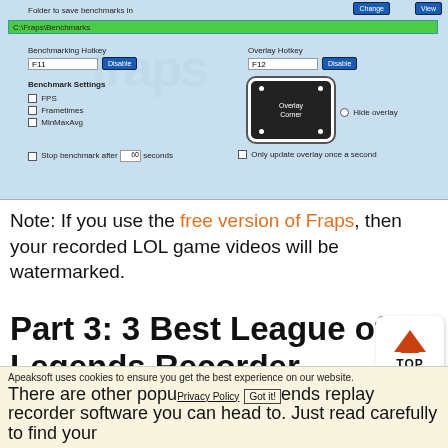[Figure (screenshot): FRAPS benchmarking settings panel showing folder path C:\Fraps\Benchmarks, benchmarking hotkey F11, overlay hotkey F12, benchmark settings checkboxes for FPS/Frametimes/MinMaxAvg, an Overlay Corner selector widget, stop benchmark after 60 seconds option, and only update overlay once a second checkbox.]
Note: If you use the free version of Fraps, then your recorded LOL game videos will be watermarked.
Part 3: 3 Best League of Legends Recorder
There are other popular League of Legends replay recorder software you can head to. Just read carefully to find your
Apeaksoft uses cookies to ensure you get the best experience on our website.
Privacy Policy  Got it!